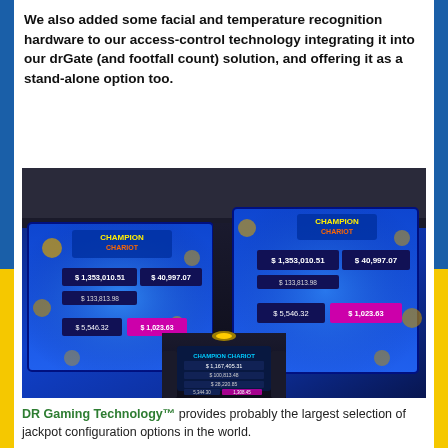We also added some facial and temperature recognition hardware to our access-control technology integrating it into our drGate (and footfall count) solution, and offering it as a stand-alone option too.
[Figure (photo): Photo of casino jackpot display screens showing DR Gaming Technology jackpot amounts including $1,353,010.51, $40,997.07, $133,813.98, $5,546.32, $1,023.63 on large LED screens above a jackpot machine]
DR Gaming Technology™ provides probably the largest selection of jackpot configuration options in the world.